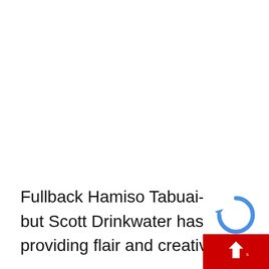Fullback Hamiso Tabuai-Fidow returns from injury, but Scott Drinkwater has been strong in his absence, providing flair and creativity.
[Figure (other): reCAPTCHA widget overlay in the bottom-right corner showing the reCAPTCHA logo and a red button with an upward arrow, partially obscuring the text.]